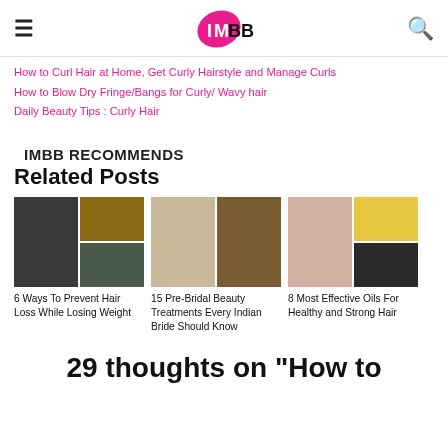IMBB logo, hamburger menu, search icon
How to Curl Hair at Home, Get Curly Hairstyle and Manage Curls
How to Blow Dry Fringe/Bangs for Curly/ Wavy hair
Daily Beauty Tips : Curly Hair
IMBB RECOMMENDS
Related Posts
[Figure (photo): Collage image for post: 6 Ways To Prevent Hair Loss While Losing Weight]
6 Ways To Prevent Hair Loss While Losing Weight
[Figure (photo): Collage image for post: 15 Pre-Bridal Beauty Treatments Every Indian Bride Should Know]
15 Pre-Bridal Beauty Treatments Every Indian Bride Should Know
[Figure (photo): Collage image for post: 8 Most Effective Oils For Healthy and Strong Hair]
8 Most Effective Oils For Healthy and Strong Hair
29 thoughts on “How to